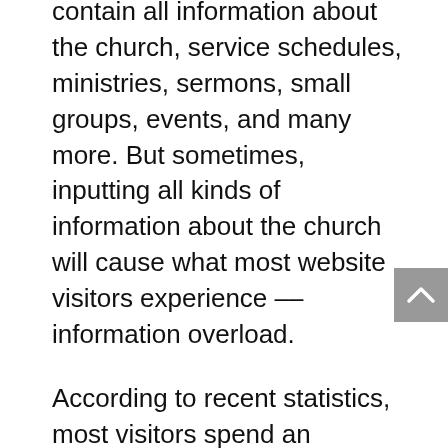contain all information about the church, service schedules, ministries, sermons, small groups, events, and many more. But sometimes, inputting all kinds of information about the church will cause what most website visitors experience –– information overload.
According to recent statistics, most visitors spend an average of 5.59 seconds looking at a website's written content. And if your church has too much information loaded on its website, visitors may stop engaging on it.
That is why it is important for a church website to synthesize all information into a coherent whole. And by doing this, you will surely have a